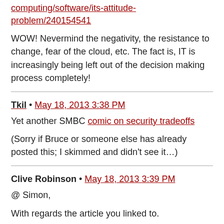computing/software/its-attitude-problem/240154541
WOW! Nevermind the negativity, the resistance to change, fear of the cloud, etc. The fact is, IT is increasingly being left out of the decision making process completely!
Tkil • May 18, 2013 3:38 PM
Yet another SMBC comic on security tradeoffs
(Sorry if Bruce or someone else has already posted this; I skimmed and didn't see it…)
Clive Robinson • May 18, 2013 3:39 PM
@ Simon,
With regards the article you linked to.
The first thing you should note is that the author is trying to sell cloud services as part of his business.
That kind of puts an unbalaced spin on what he is saying.